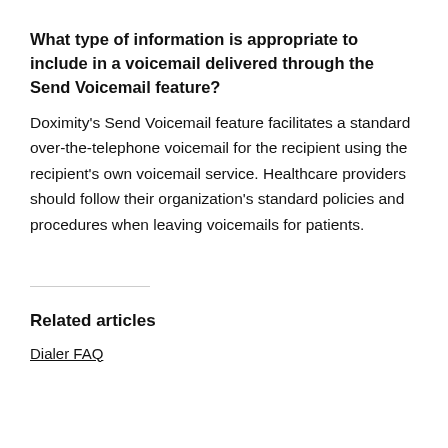What type of information is appropriate to include in a voicemail delivered through the Send Voicemail feature?
Doximity's Send Voicemail feature facilitates a standard over-the-telephone voicemail for the recipient using the recipient's own voicemail service. Healthcare providers should follow their organization's standard policies and procedures when leaving voicemails for patients.
Related articles
Dialer FAQ